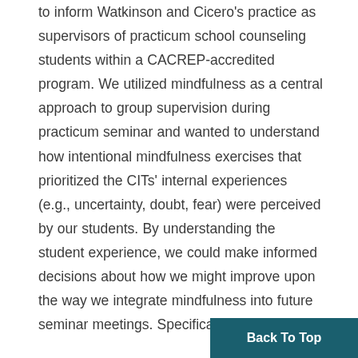to inform Watkinson and Cicero's practice as supervisors of practicum school counseling students within a CACREP-accredited program. We utilized mindfulness as a central approach to group supervision during practicum seminar and wanted to understand how intentional mindfulness exercises that prioritized the CITs' internal experiences (e.g., uncertainty, doubt, fear) were perceived by our students. By understanding the student experience, we could make informed decisions about how we might improve upon the way we integrate mindfulness into future seminar meetings. Specifically, we were guided by this research question: How are CITs experiencing
Back To Top